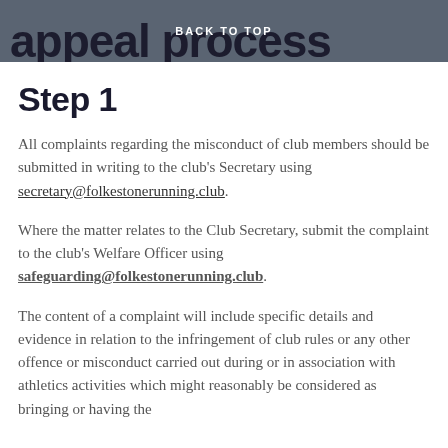appeal process BACK TO TOP
Step 1
All complaints regarding the misconduct of club members should be submitted in writing to the club's Secretary using secretary@folkestonerunning.club.
Where the matter relates to the Club Secretary, submit the complaint to the club's Welfare Officer using safeguarding@folkestonerunning.club.
The content of a complaint will include specific details and evidence in relation to the infringement of club rules or any other offence or misconduct carried out during or in association with athletics activities which might reasonably be considered as bringing or having the